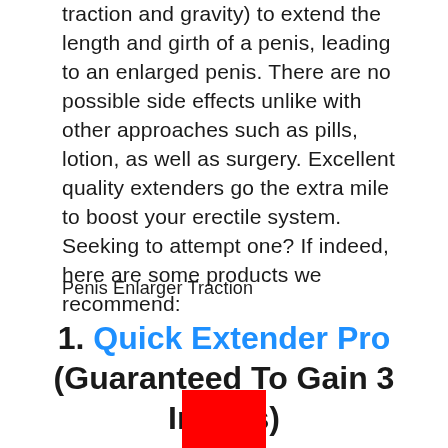traction and gravity) to extend the length and girth of a penis, leading to an enlarged penis. There are no possible side effects unlike with other approaches such as pills, lotion, as well as surgery. Excellent quality extenders go the extra mile to boost your erectile system. Seeking to attempt one? If indeed, here are some products we recommend:
Penis Enlarger Traction
1. Quick Extender Pro (Guaranteed To Gain 3 Inches)
[Figure (other): Red rectangle, partial image of a product]